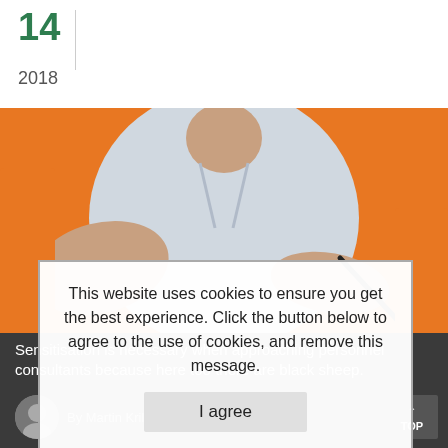14
2018
[Figure (photo): Photo of a person wearing a blue shirt sitting in an orange chair, holding a black pen, writing or signing a document. Background is orange.]
Sensitisation is necessary when approaching personnel consultants because here too there are black sheep.
This website uses cookies to ensure you get the best experience. Click the button below to agree to the use of cookies, and remove this message.
I agree
By Martin Krill  💬 0